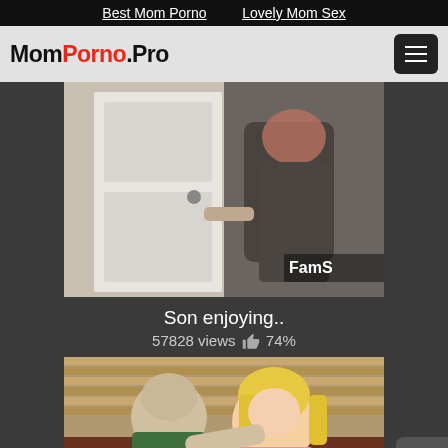Best Mom Porno   Lovely Mom Sex
MomPorno.Pro
[Figure (screenshot): Video thumbnail showing a scene near a white door with a watermark reading FamS]
Son enjoying..
57828 views 👍 74%
[Figure (screenshot): Second video thumbnail showing two people at a table]